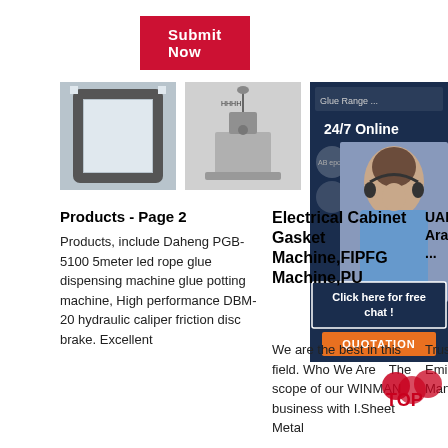Submit Now
[Figure (photo): Metal frame corner product photo]
[Figure (photo): Electrical cabinet gasket machine / dispensing machine photo]
[Figure (photo): 24/7 Online support panel with woman wearing headset, click here for free chat and QUOTATION button]
Products - Page 2
Products, include Daheng PGB-5100 5meter led rope glue dispensing machine glue potting machine, High performance DBM-20 hydraulic caliper friction disc brake. Excellent
Electrical Cabinet Gasket Machine,FIPFG Machine,PU
We are the best in this field. Who We Are  The scope of our WINMAN business with I.Sheet Metal
UAE Directory United Arab Emirates Products ...
Trustworthy United Arab Emirates Products Manufacturers